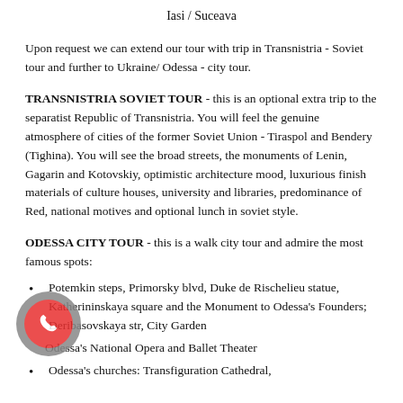Iasi / Suceava
Upon request we can extend our tour with trip in Transnistria - Soviet tour and further to Ukraine/ Odessa - city tour.
TRANSNISTRIA SOVIET TOUR - this is an optional extra trip to the separatist Republic of Transnistria. You will feel the genuine atmosphere of cities of the former Soviet Union - Tiraspol and Bendery (Tighina). You will see the broad streets, the monuments of Lenin, Gagarin and Kotovskiy, optimistic architecture mood, luxurious finish materials of culture houses, university and libraries, predominance of Red, national motives and optional lunch in soviet style.
ODESSA CITY TOUR - this is a walk city tour and admire the most famous spots:
Potemkin steps, Primorsky blvd, Duke de Rischelieu statue, Katherininskaya square and the Monument to Odessa's Founders; Deribasovskaya str, City Garden
Odessa's National Opera and Ballet Theater
Odessa's churches: Transfiguration Cathedral,